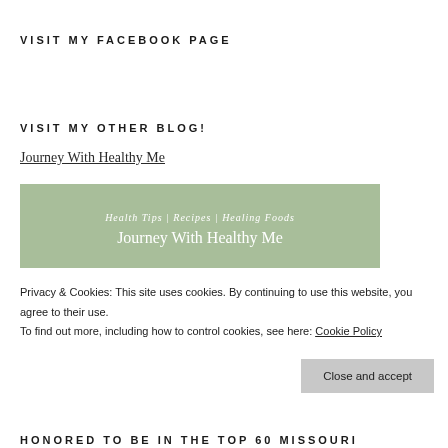VISIT MY FACEBOOK PAGE
VISIT MY OTHER BLOG!
Journey With Healthy Me
[Figure (illustration): Green banner image with text 'Health Tips | Recipes | Healing Foods' and 'Journey With Healthy Me']
Privacy & Cookies: This site uses cookies. By continuing to use this website, you agree to their use.
To find out more, including how to control cookies, see here: Cookie Policy
Close and accept
HONORED TO BE IN THE TOP 60 MISSOURI